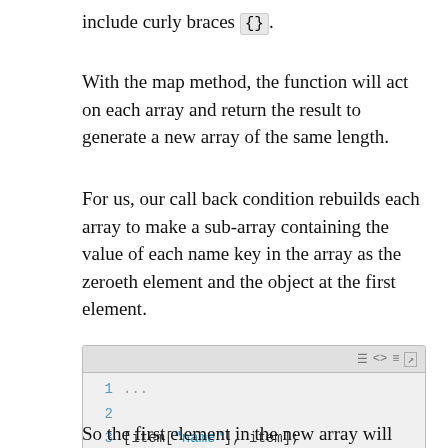include curly braces {}.
With the map method, the function will act on each array and return the result to generate a new array of the same length.
For us, our call back condition rebuilds each array to make a sub-array containing the value of each name key in the array as the zeroeth element and the object at the first element.
[Figure (screenshot): Code block showing lines 1-5 with line 3 containing: [item["name"], item]; where "name" is highlighted in blue. A decorative coffee cup button appears bottom-right.]
So the first element in the new array will look